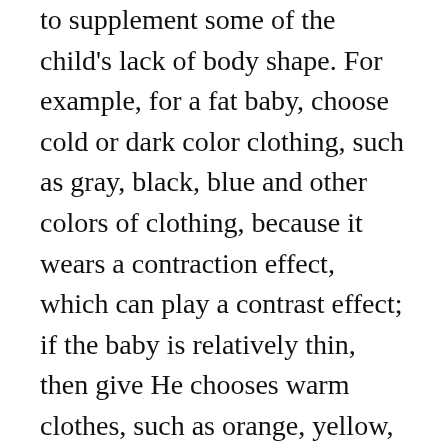to supplement some of the child's lack of body shape. For example, for a fat baby, choose cold or dark color clothing, such as gray, black, blue and other colors of clothing, because it wears a contraction effect, which can play a contrast effect; if the baby is relatively thin, then give He chooses warm clothes, such as orange, yellow, beige, etc. These colors expand outwards, giving people a warm feeling.
Children's clothing fabrics
Children are lively and active, and they have no awareness of protecting clothing. Thus the fabric of children's toddler tutu dress should be strong, durable, and not easily damaged. At the same time, the comfort of fabrics must also be